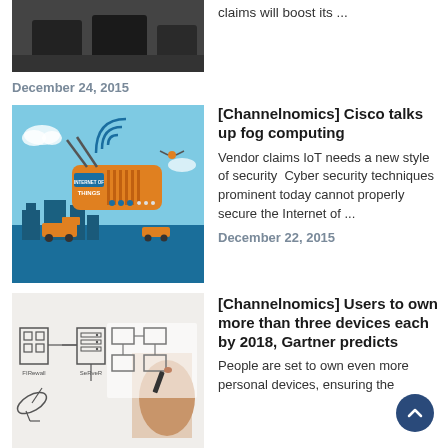[Figure (photo): Partial view of article thumbnail - dark office chairs]
claims will boost its ...
December 24, 2015
[Figure (illustration): Internet of Things illustration with radio, WiFi signals, city buildings, drone, and orange/blue color scheme]
[Channelnomics] Cisco talks up fog computing
Vendor claims IoT needs a new style of security  Cyber security techniques prominent today cannot properly secure the Internet of ...
December 22, 2015
[Figure (illustration): Network diagram sketch with firewall, server, satellite dish components drawn in outline style, with person's hand visible]
[Channelnomics] Users to own more than three devices each by 2018, Gartner predicts
People are set to own even more personal devices, ensuring the